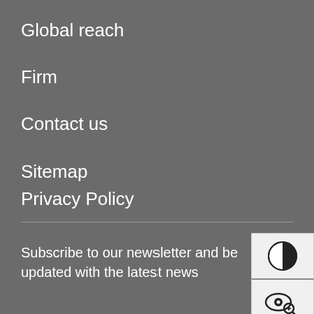Global reach
Firm
Contact us
Sitemap
Privacy Policy
Subscribe to our newsletter and be updated with the latest news
[Figure (illustration): Two icon buttons stacked vertically: top icon shows a half-black half-white circle (contrast/accessibility icon), bottom icon shows an eye with a magnifying glass (zoom/view icon)]